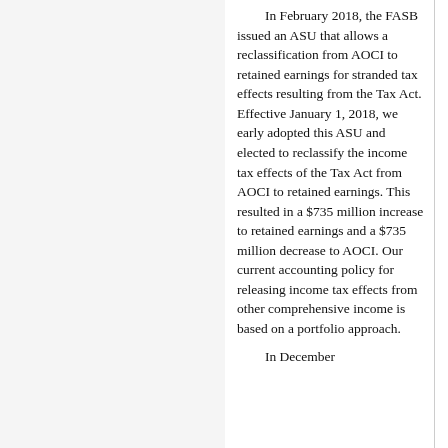In February 2018, the FASB issued an ASU that allows a reclassification from AOCI to retained earnings for stranded tax effects resulting from the Tax Act. Effective January 1, 2018, we early adopted this ASU and elected to reclassify the income tax effects of the Tax Act from AOCI to retained earnings. This resulted in a $735 million increase to retained earnings and a $735 million decrease to AOCI. Our current accounting policy for releasing income tax effects from other comprehensive income is based on a portfolio approach.

In December